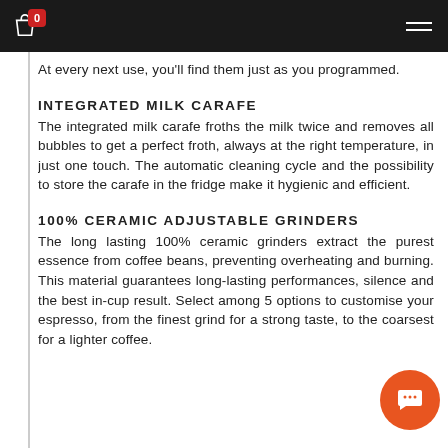Navigation bar with cart (0) and menu icon
At every next use, you'll find them just as you programmed.
INTEGRATED MILK CARAFE
The integrated milk carafe froths the milk twice and removes all bubbles to get a perfect froth, always at the right temperature, in just one touch. The automatic cleaning cycle and the possibility to store the carafe in the fridge make it hygienic and efficient.
100% CERAMIC ADJUSTABLE GRINDERS
The long lasting 100% ceramic grinders extract the purest essence from coffee beans, preventing overheating and burning. This material guarantees long-lasting performances, silence and the best in-cup result. Select among 5 options to customise your espresso, from the finest grind for a strong taste, to the coarsest for a lighter coffee.